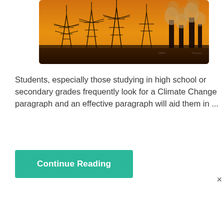[Figure (photo): Industrial scene at dusk/sunset showing power line towers and factory smokestacks emitting smoke against an orange-yellow hazy sky.]
Students, especially those studying in high school or secondary grades frequently look for a Climate Change paragraph and an effective paragraph will aid them in ...
Continue Reading
×